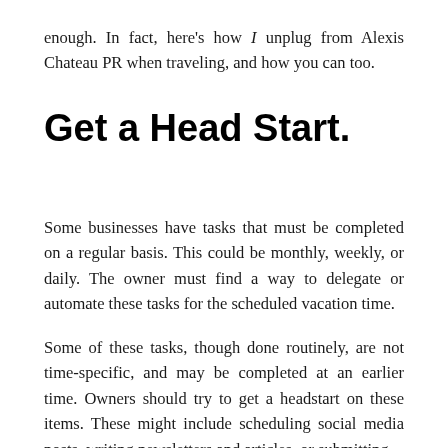enough. In fact, here’s how I unplug from Alexis Chateau PR when traveling, and how you can too.
Get a Head Start.
Some businesses have tasks that must be completed on a regular basis. This could be monthly, weekly, or daily. The owner must find a way to delegate or automate these tasks for the scheduled vacation time.
Some of these tasks, though done routinely, are not time-specific, and may be completed at an earlier time. Owners should try to get a headstart on these items. These might include scheduling social media posts, writing newsletters and articles, or submitting